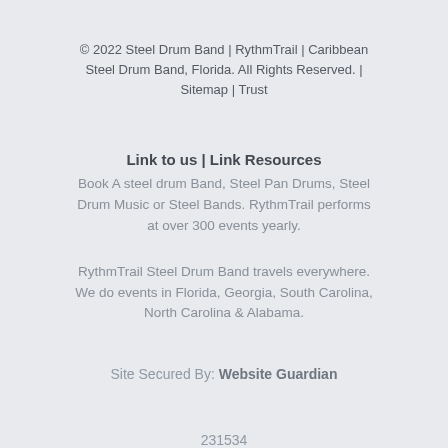© 2022 Steel Drum Band | RythmTrail | Caribbean Steel Drum Band, Florida. All Rights Reserved. | Sitemap | Trust
Link to us | Link Resources
Book A steel drum Band, Steel Pan Drums, Steel Drum Music or Steel Bands. RythmTrail performs at over 300 events yearly.
RythmTrail Steel Drum Band travels everywhere. We do events in Florida, Georgia, South Carolina, North Carolina & Alabama.
Site Secured By: Website Guardian
231534